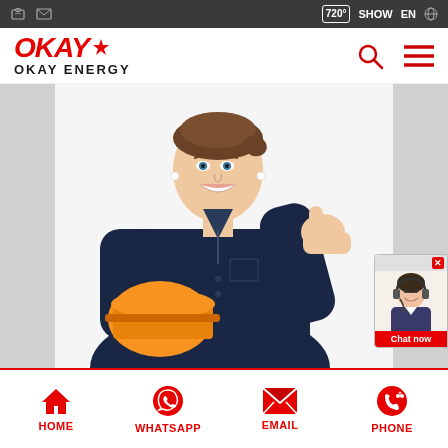720° SHOW EN [globe] [phone] [email]
[Figure (logo): OKAY ENERGY logo with red stylized text and star, bold black subtitle OKAY ENERGY]
[Figure (photo): Female worker in dark navy coveralls holding an orange hard hat, giving a thumbs up, smiling against a white background]
[Figure (photo): Small chat widget showing a customer service representative with headset, with Chat now button]
HOME  WHATSAPP  EMAIL  PHONE